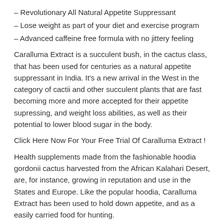– Revolutionary All Natural Appetite Suppressant
– Lose weight as part of your diet and exercise program
– Advanced caffeine free formula with no jittery feeling
Caralluma Extract is a succulent bush, in the cactus class, that has been used for centuries as a natural appetite suppressant in India. It's a new arrival in the West in the category of cactii and other succulent plants that are fast becoming more and more accepted for their appetite supressing, and weight loss abilities, as well as their potential to lower blood sugar in the body.
Click Here Now For Your Free Trial Of Caralluma Extract !
Health supplements made from the fashionable hoodia gordonii cactus harvested from the African Kalahari Desert, are, for instance, growing in reputation and use in the States and Europe. Like the popular hoodia, Caralluma Extract has been used to hold down appetite, and as a easily carried food for hunting.
It is used to inhibit hunger and appetite, and boost endurance throughout